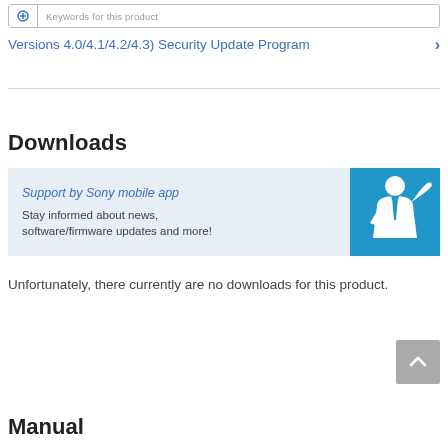Keywords for this product
Versions 4.0/4.1/4.2/4.3) Security Update Program
Downloads
[Figure (illustration): Support by Sony mobile app banner with blue background and white silhouette of a person in suit presenting]
Unfortunately, there currently are no downloads for this product.
Manual